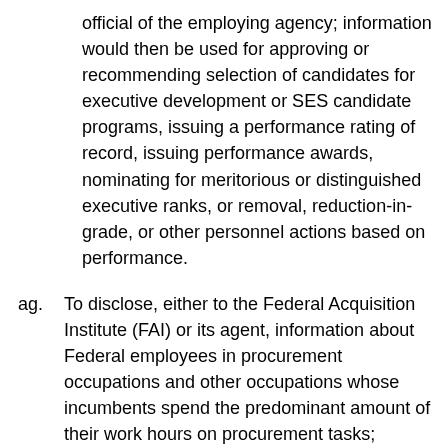official of the employing agency; information would then be used for approving or recommending selection of candidates for executive development or SES candidate programs, issuing a performance rating of record, issuing performance awards, nominating for meritorious or distinguished executive ranks, or removal, reduction-in-grade, or other personnel actions based on performance.
ag. To disclose, either to the Federal Acquisition Institute (FAI) or its agent, information about Federal employees in procurement occupations and other occupations whose incumbents spend the predominant amount of their work hours on procurement tasks; provided that the information shall be used only for such purposes and under such conditions as prescribed by the notice of the Federal Acquisition Personnel Information System as published in the Federal Register of February 7, 1980